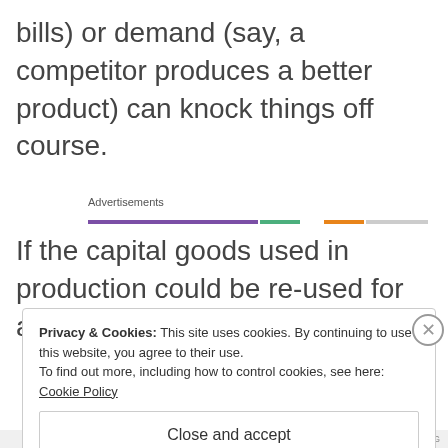bills) or demand (say, a competitor produces a better product) can knock things off course.
[Figure (other): Advertisements bar with colored segments: purple, green, white gap, orange, gray]
If the capital goods used in production could be re-used for any
Privacy & Cookies: This site uses cookies. By continuing to use this website, you agree to their use.
To find out more, including how to control cookies, see here: Cookie Policy
Close and accept
AIRPORT-TIME.AG